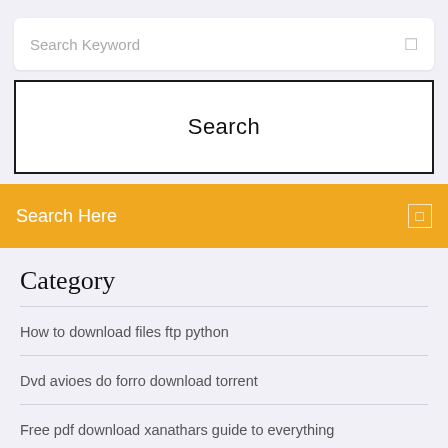Search Keyword
Search
Search Here
Category
How to download files ftp python
Dvd avioes do forro download torrent
Free pdf download xanathars guide to everything